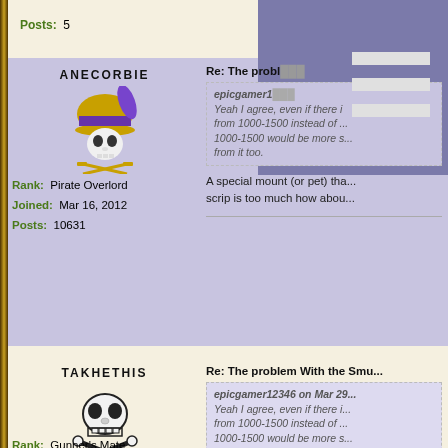Posts:  5
[Figure (illustration): ANECORBIE username header with pirate skull avatar wearing purple and gold hat]
Rank:  Pirate Overlord
Joined:  Mar 16, 2012
Posts:  10631
Re: The proble...
epicgamer1... on ...
Yeah I agree, even if there i... from 1000-1500 instead of ... 1000-1500 would be more s... from it too.
A special mount (or pet) tha... scrip is too much how abou...
[Figure (illustration): TAKHETHIS username header with simple skull and crossbones avatar]
Rank:  Gunner's Mate
Joined:  Sep 04, 2019
Re: The problem With the Smu...
epicgamer12346 on Mar 29...
Yeah I agree, even if there i... from 1000-1500 instead of ... 1000-1500 would be more s... from it too.